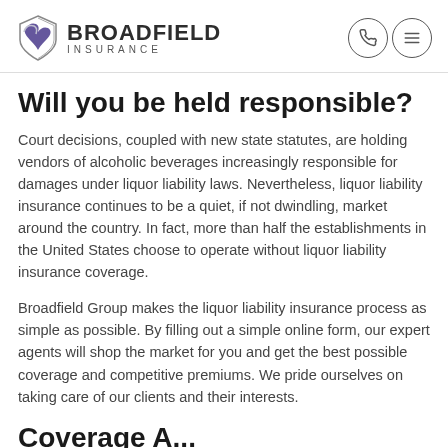BROADFIELD INSURANCE
Will you be held responsible?
Court decisions, coupled with new state statutes, are holding vendors of alcoholic beverages increasingly responsible for damages under liquor liability laws. Nevertheless, liquor liability insurance continues to be a quiet, if not dwindling, market around the country. In fact, more than half the establishments in the United States choose to operate without liquor liability insurance coverage.
Broadfield Group makes the liquor liability insurance process as simple as possible. By filling out a simple online form, our expert agents will shop the market for you and get the best possible coverage and competitive premiums. We pride ourselves on taking care of our clients and their interests.
Coverage A...